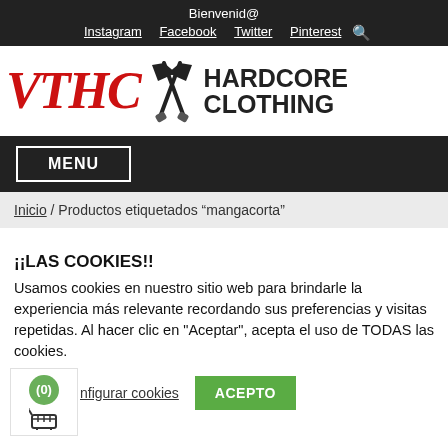Bienvenid@
Instagram  Facebook  Twitter  Pinterest 🔍
[Figure (logo): VTHC Hardcore Clothing logo with red gothic lettering, crossed axes icon, and bold black HARDCORE CLOTHING text]
MENU
Inicio / Productos etiquetados "mangacorta"
¡¡LAS COOKIES!!
Usamos cookies en nuestro sitio web para brindarle la experiencia más relevante recordando sus preferencias y visitas repetidas. Al hacer clic en "Aceptar", acepta el uso de TODAS las cookies.
Configurar cookies   ACEPTO